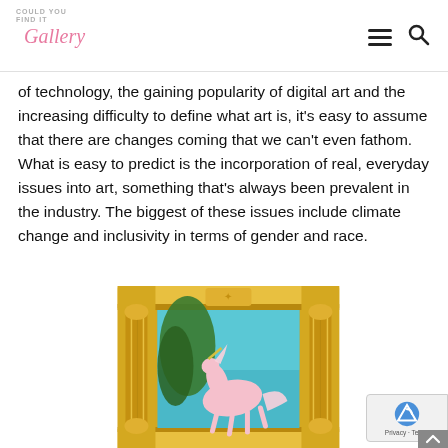COULD YOU FIND IT Gallery
of technology, the gaining popularity of digital art and the increasing difficulty to define what art is, it's easy to assume that there are changes coming that we can't even fathom. What is easy to predict is the incorporation of real, everyday issues into art, something that's always been prevalent in the industry. The biggest of these issues include climate change and inclusivity in terms of gender and race.
[Figure (photo): A painting of a white/pink unicorn in a gold ornate classical frame, set against a teal sky and trees background.]